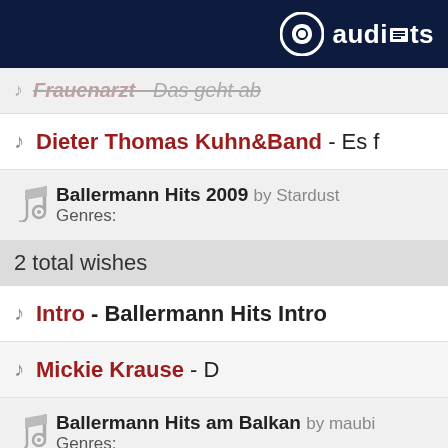[Figure (logo): audiants logo - dark navy header bar with circular logo icon and text 'audiants']
Frauenarzt - Das geht ab (strikethrough/faded)
Dieter Thomas Kuhn&Band - Es f
[Figure (other): Album info: Ballermann Hits 2009 by Stardust, Genres:]
2 total wishes
Intro - Ballermann Hits Intro
Mickie Krause - D
[Figure (other): Album info: Ballermann Hits am Balkan by maubi, Genres:]